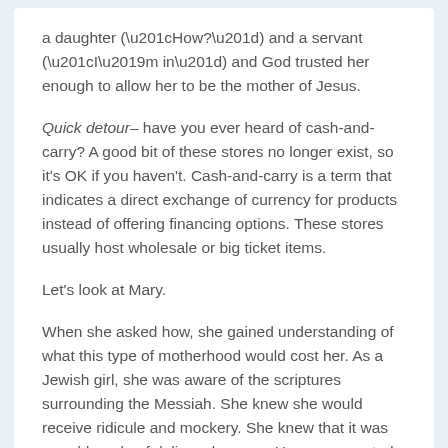a daughter (“How?”) and a servant (“I’m in”) and God trusted her enough to allow her to be the mother of Jesus.
Quick detour– have you ever heard of cash-and-carry? A good bit of these stores no longer exist, so it’s OK if you haven’t. Cash-and-carry is a term that indicates a direct exchange of currency for products instead of offering financing options. These stores usually host wholesale or big ticket items.
Let’s look at Mary.
When she asked how, she gained understanding of what this type of motherhood would cost her. As a Jewish girl, she was aware of the scriptures surrounding the Messiah. She knew she would receive ridicule and mockery. She knew that it was an odd mode of delivery because He was expected to come to Earth in grandeur. She knew she would have to watch Him die for the sins of the world. She quickly analyzed her cash